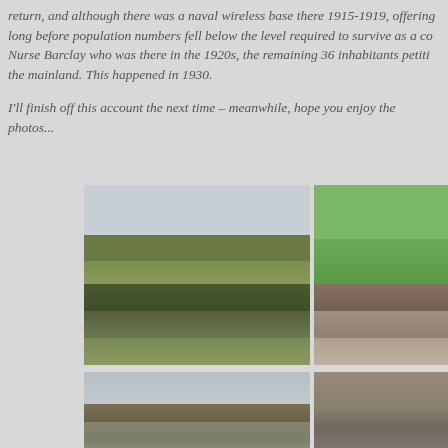return, and although there was a naval wireless base there 1915-1919, offering long before population numbers fell below the level required to survive as a co... Nurse Barclay who was there in the 1920s, the remaining 36 inhabitants petiti... the mainland. This happened in 1930.

I'll finish off this account the next time – meanwhile, hope you enjoy the photos...
[Figure (photo): Stone dry-stone wall curving in foreground with green hillside and stone village structures in background under overcast sky]
[Figure (photo): Green grassy coastal scene with stone walls and rocky shoreline]
[Figure (photo): Stone building exterior with dark slate roof, window visible, grey overcast sky]
[Figure (photo): Close-up of stone building corner with dark roof, partially cut off at right edge]